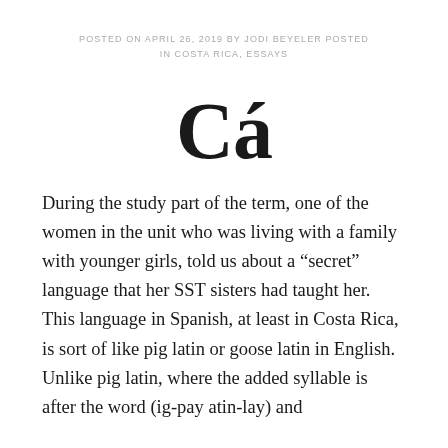POSTED ON APRIL 26, 2019 BY JODI BEYELER POSTED IN COSTA RICA, ESSAYS
Cá
During the study part of the term, one of the women in the unit who was living with a family with younger girls, told us about a “secret” language that her SST sisters had taught her. This language in Spanish, at least in Costa Rica, is sort of like pig latin or goose latin in English. Unlike pig latin, where the added syllable is after the word (ig-pay atin-lay) and